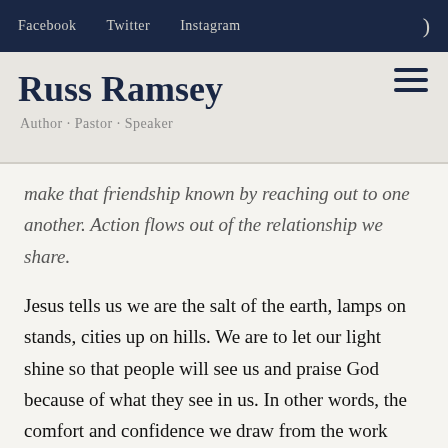Facebook   Twitter   Instagram
Russ Ramsey
Author · Pastor · Speaker
make that friendship known by reaching out to one another. Action flows out of the relationship we share.
Jesus tells us we are the salt of the earth, lamps on stands, cities up on hills. We are to let our light shine so that people will see us and praise God because of what they see in us. In other words, the comfort and confidence we draw from the work Christ is doing should draw from us a response of gratitude to God that serves as our witness to the world.